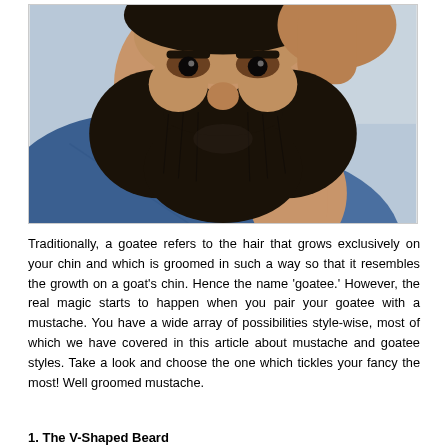[Figure (photo): Close-up portrait of a man with a full dark beard and mustache, wearing a blue denim shirt, hand raised near his head, photographed against a light background.]
Traditionally, a goatee refers to the hair that grows exclusively on your chin and which is groomed in such a way so that it resembles the growth on a goat's chin. Hence the name 'goatee.' However, the real magic starts to happen when you pair your goatee with a mustache. You have a wide array of possibilities style-wise, most of which we have covered in this article about mustache and goatee styles. Take a look and choose the one which tickles your fancy the most! Well groomed mustache.
1. The V-Shaped Beard